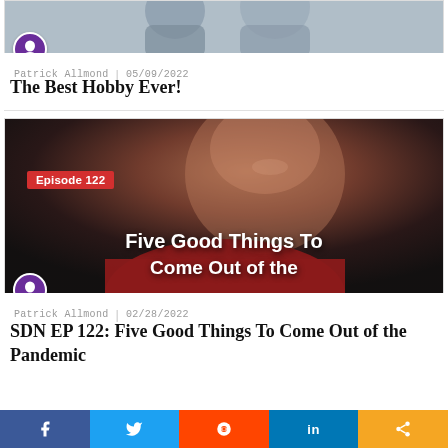[Figure (photo): Cropped photo of people, partially visible at top of card]
Patrick Allmond | 05/09/2022
The Best Hobby Ever!
[Figure (photo): Episode 122 thumbnail image with a man smiling wearing a red shirt, overlay text reads Episode 122 and Five Good Things To Come Out of the...]
Patrick Allmond | 02/28/2022
SDN EP 122: Five Good Things To Come Out of the Pandemic